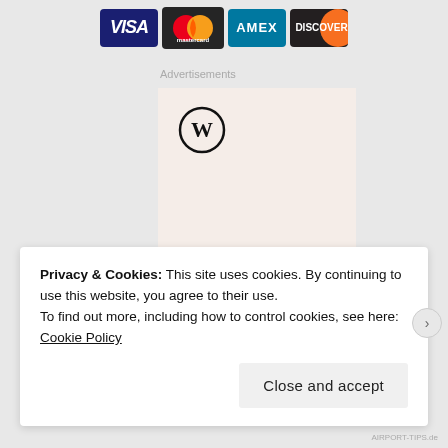[Figure (logo): Payment method logos: Visa, Mastercard, American Express, Discover]
Advertisements
[Figure (logo): WordPress advertisement banner with WordPress logo and text 'Need a website']
Privacy & Cookies: This site uses cookies. By continuing to use this website, you agree to their use.
To find out more, including how to control cookies, see here: Cookie Policy
Close and accept